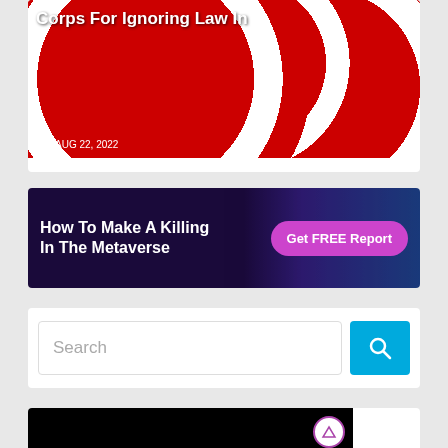[Figure (photo): Article thumbnail showing a pile of red, white, and blue 'VOTE' campaign buttons with partial overlaid title text 'Corps For Ignoring Law In' and date 'AUG 22, 2022']
[Figure (infographic): Advertisement banner with dark blue/purple background and circuit board graphic. Text: 'How To Make A Killing In The Metaverse' with a pink/magenta button 'Get FREE Report']
[Figure (screenshot): Search bar with placeholder text 'Search' and a teal/cyan search button with magnifying glass icon]
[Figure (screenshot): Black background card with text 'CAUGHT ON CAMERA: FLORIDA MAN LEAVES' and a small purple circular logo in the top right corner. A teal scroll-to-top arrow button appears at bottom right.]